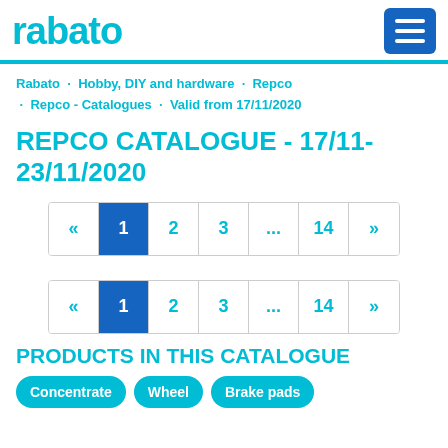rabato
Rabato · Hobby, DIY and hardware · Repco · Repco - Catalogues · Valid from 17/11/2020
REPCO CATALOGUE - 17/11-23/11/2020
[Figure (infographic): Pagination control showing: « 1 2 3 ... 14 »  where 1 is highlighted in blue]
[Figure (infographic): Pagination control showing: « 1 2 3 ... 14 »  where 1 is highlighted in blue]
PRODUCTS IN THIS CATALOGUE
Concentrate
Wheel
Brake pads